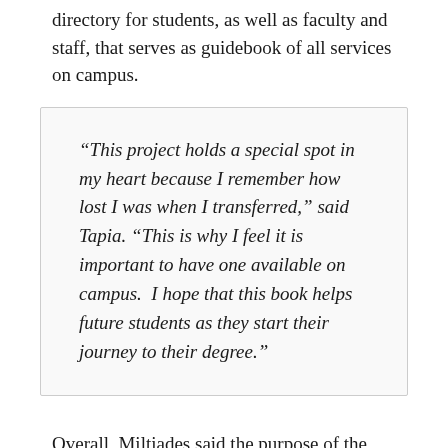directory for students, as well as faculty and staff, that serves as guidebook of all services on campus.
“This project holds a special spot in my heart because I remember how lost I was when I transferred,” said Tapia. “This is why I feel it is important to have one available on campus.  I hope that this book helps future students as they start their journey to their degree.”
Overall, Miltiades said the purpose of the event is for individuals to embrace the important aspects of their life and those around them.